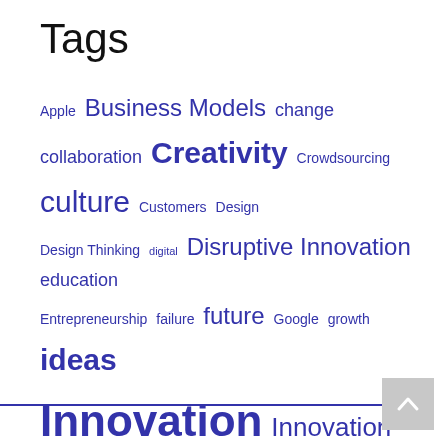Tags
Apple Business Models change collaboration Creativity Crowdsourcing culture Customers Design Design Thinking digital Disruptive Innovation education Entrepreneurship failure future Google growth ideas Innovation Innovation Management Innovation Mindset innovative thinking ipad kindle Leadership Management marketing michael graber mobile Most Popular Nook Open Innovation organization Process research Social Media Southern Growth Studio startups Strategy success tablets technology Top 20 Trends